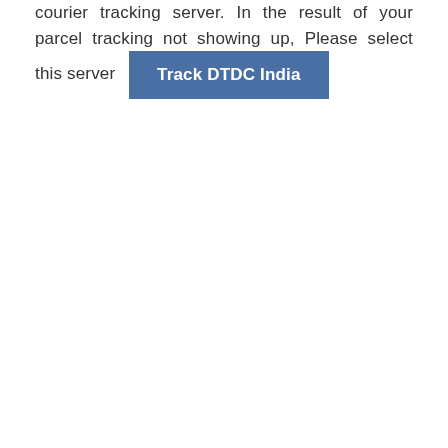courier tracking server. In the result of your parcel tracking not showing up, Please select this server  [Track DTDC India]